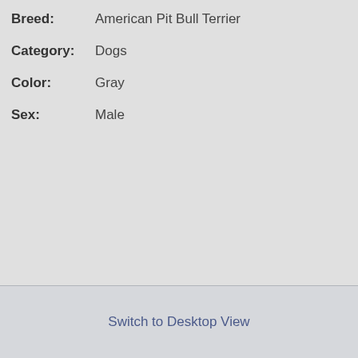Breed: American Pit Bull Terrier
Category: Dogs
Color: Gray
Sex: Male
Switch to Desktop View